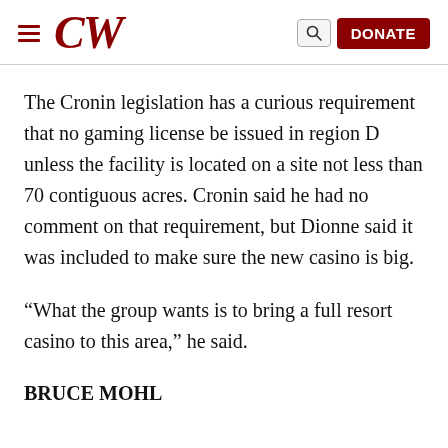CW | DONATE
The Cronin legislation has a curious requirement that no gaming license be issued in region D unless the facility is located on a site not less than 70 contiguous acres. Cronin said he had no comment on that requirement, but Dionne said it was included to make sure the new casino is big.
“What the group wants is to bring a full resort casino to this area,” he said.
BRUCE MOHL